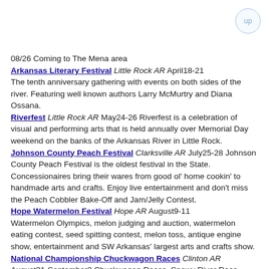08/26 Coming to The Mena area
Arkansas Literary Festival Little Rock AR April18-21 The tenth anniversary gathering with events on both sides of the river. Featuring well known authors Larry McMurtry and Diana Ossana.
Riverfest Little Rock AR May24-26 Riverfest is a celebration of visual and performing arts that is held annually over Memorial Day weekend on the banks of the Arkansas River in Little Rock.
Johnson County Peach Festival Clarksville AR July25-28 Johnson County Peach Festival is the oldest festival in the State. Concessionaires bring their wares from good ol' home cookin' to handmade arts and crafts. Enjoy live entertainment and don't miss the Peach Cobbler Bake-Off and Jam/Jelly Contest.
Hope Watermelon Festival Hope AR August9-11 Watermelon Olympics, melon judging and auction, watermelon eating contest, seed spitting contest, melon toss, antique engine show, entertainment and SW Arkansas' largest arts and crafts show.
National Championship Chuckwagon Races Clinton AR August31-September2 Chuckwagon Races, Snowy River Race, bronc fanning, music, concerts, camping, trail riding, western trade show, horse and mule clinics,